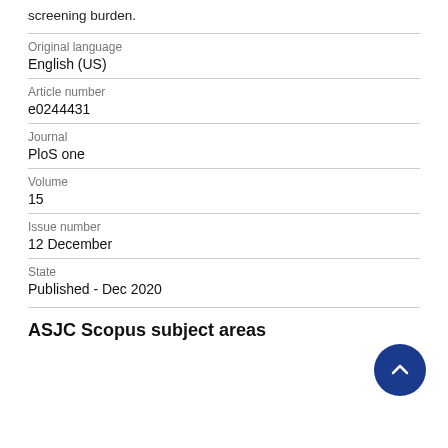screening burden.
Original language
English (US)
Article number
e0244431
Journal
PloS one
Volume
15
Issue number
12 December
State
Published - Dec 2020
ASJC Scopus subject areas